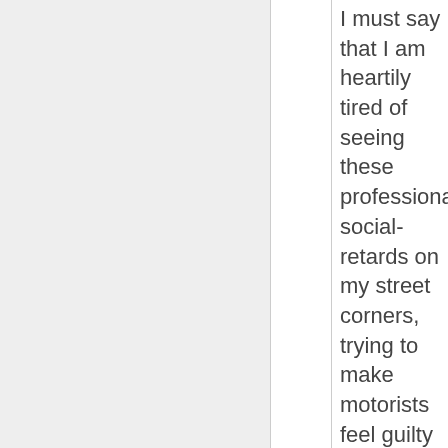I must say that I am heartily tired of seeing these professional social-retards on my street corners, trying to make motorists feel guilty about not being as worthless as they are.
This is emblematic of a successful, idle, and unchallenged society – it's where the self-righteous underachievers can make the normal majority feel guilt over their social and financial success.
I call it White Liberal Guilt, and if you were educated by one of the Socialist Robot Manufacturies that were so efficiently cranking out Guilty White Liberal Youths the 1960s to now, then you have to overcome your White Libera...